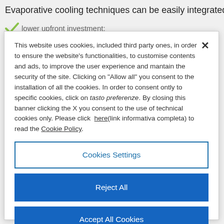Evaporative cooling techniques can be easily integrated into e…
lower upfront investment:
This website uses cookies, included third party ones, in order to ensure the website's functionalities, to customise contents and ads, to improve the user experience and mantain the security of the site. Clicking on "Allow all" you consent to the installation of all the cookies. In order to consent ontly to specific cookies, click on tasto preferenze. By closing this banner clicking the X you consent to the use of technical cookies only. Please click here(link informativa completa) to read the Cookie Policy.
Cookies Settings
Reject All
Accept All Cookies